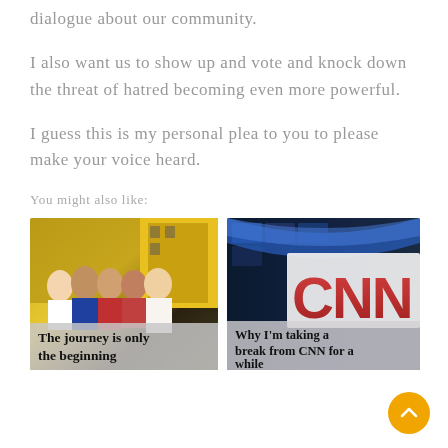dialogue about our community.
I also want us to show up and vote and knock down the threat of hatred becoming even more powerful.
I guess this is my personal plea to you to please make your voice heard.
You might also like:
[Figure (photo): Group of people standing in front of yellow panels at a conference or event]
The journey is only the beginning
[Figure (photo): CNN studio with CNN logo sign visible]
Why I'm taking a break from CNN for a while